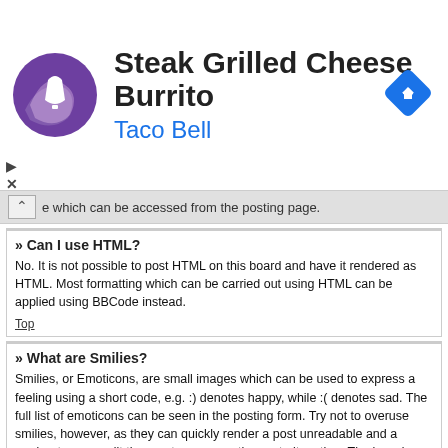[Figure (advertisement): Taco Bell advertisement banner showing Steak Grilled Cheese Burrito with Taco Bell logo on left and navigation icon on right]
e which can be accessed from the posting page.
» Can I use HTML?
No. It is not possible to post HTML on this board and have it rendered as HTML. Most formatting which can be carried out using HTML can be applied using BBCode instead.
Top
» What are Smilies?
Smilies, or Emoticons, are small images which can be used to express a feeling using a short code, e.g. :) denotes happy, while :( denotes sad. The full list of emoticons can be seen in the posting form. Try not to overuse smilies, however, as they can quickly render a post unreadable and a moderator may edit them out or remove the post altogether. The board administrator may also have set a limit to the number of smilies you may use within a post.
Top
» Can I post images?
Yes, images can be shown in your posts. If the administrator has